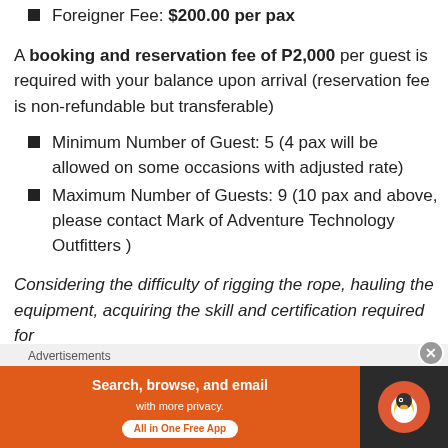Foreigner Fee: $200.00 per pax
A booking and reservation fee of P2,000 per guest is required with your balance upon arrival (reservation fee is non-refundable but transferable)
Minimum Number of Guest: 5 (4 pax will be allowed on some occasions with adjusted rate)
Maximum Number of Guests: 9 (10 pax and above, please contact Mark of Adventure Technology Outfitters )
Considering the difficulty of rigging the rope, hauling the equipment, acquiring the skill and certification required for
Advertisements
[Figure (other): DuckDuckGo advertisement banner: Search, browse, and email with more privacy. All in One Free App.]